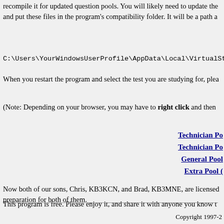recompile it for updated question pools. You will likely need to update the and put these files in the program's compatibility folder. It will be a path a
C:\Users\YourWindowsUserProfile\AppData\Local\VirtualStore\Program
When you restart the program and select the test you are studying for, plea
(Note: Depending on your browser, you may have to right click and then
Technician Po
Technician Po
General Pool
Extra Pool (
Now both of our sons, Chris, KB3KCN, and Brad, KB3MNE, are licensed preparation for both of them.
This program is free. Please enjoy it, and share it with anyone you know t
Copyright 1997-2